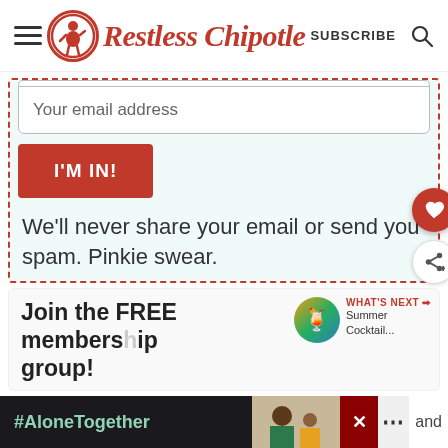[Figure (logo): Restless Chipotle website header with hamburger menu icon, circular logo with pinup figure, 'Restless Chipotle' script text in red, SUBSCRIBE text, and search icon]
Your email address
I'M IN!
We'll never share your email or send you spam. Pinkie swear.
Join the FREE membership group!
[Figure (screenshot): WHAT'S NEXT badge with Summer Cocktail... text and colorful sphere image]
#AloneTogether
[Figure (photo): Photo of man and child waving, partially visible in ad bar]
and